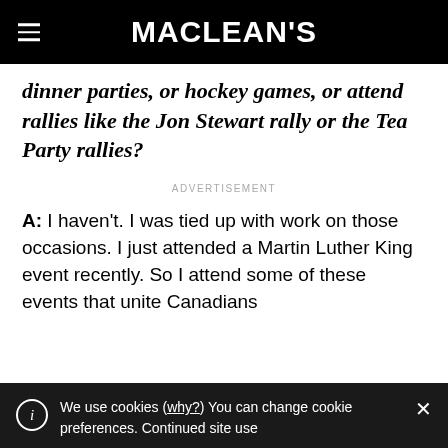MACLEAN'S
dinner parties, or hockey games, or attend rallies like the Jon Stewart rally or the Tea Party rallies?
ADVERTISEMENT
A: I haven't. I was tied up with work on those occasions. I just attended a Martin Luther King event recently. So I attend some of these events that unite Canadians
We use cookies (why?) You can change cookie preferences. Continued site use